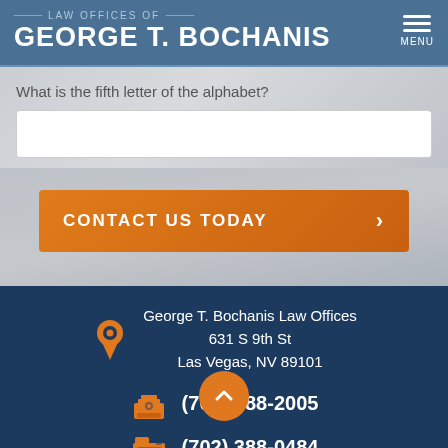LAW OFFICES OF GEORGE T. BOCHANIS
What is the fifth letter of the alphabet?
CONTACT US TODAY
George T. Bochanis Law Offices
631 S 9th St
Las Vegas, NV 89101
(702) 388-2005
(702) 388-0484